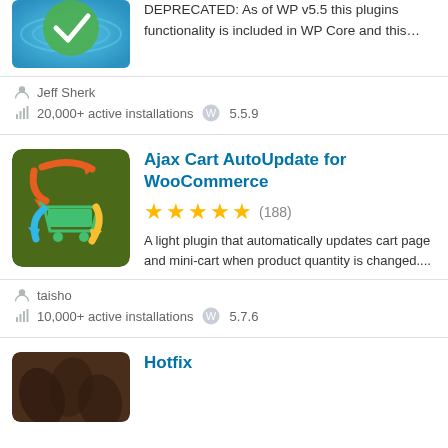[Figure (screenshot): Plugin icon showing green checkmark on blue water/wave background, cropped at top]
DEPRECATED: As of WP v5.5 this plugins functionality is included in WP Core and this…
Jeff Sherk
20,000+ active installations  5.5.9
[Figure (screenshot): Plugin icon for Ajax Cart AutoUpdate for WooCommerce - green background with shopping cart and colored arrows]
Ajax Cart AutoUpdate for WooCommerce
★★★★★ (188)
A light plugin that automatically updates cart page and mini-cart when product quantity is changed....
taisho
10,000+ active installations  5.7.6
[Figure (screenshot): Plugin icon for Hotfix - dark brown background with leaf/floral motif]
Hotfix